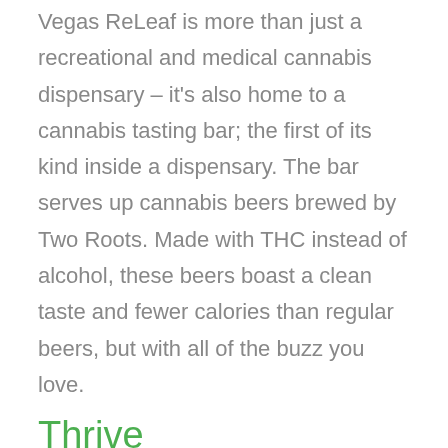Vegas ReLeaf is more than just a recreational and medical cannabis dispensary – it's also home to a cannabis tasting bar; the first of its kind inside a dispensary. The bar serves up cannabis beers brewed by Two Roots. Made with THC instead of alcohol, these beers boast a clean taste and fewer calories than regular beers, but with all of the buzz you love.
Thrive
On the Strip? No. In North Las Vegas, north of the Strip Special features: open 24 hours, drive-thru window, daily deals Address: 2755 W. Cheyenne Ave, #103 North Las Vegas, NV 89032